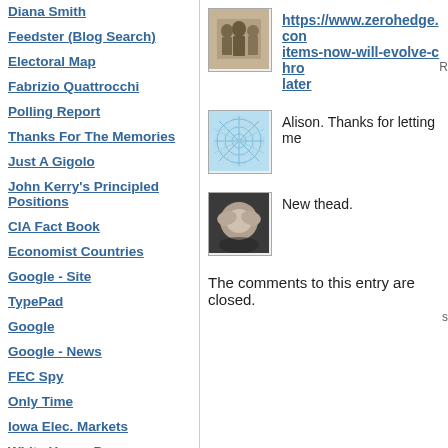Diana Smith
Feedster (Blog Search)
Electoral Map
Fabrizio Quattrocchi
Polling Report
Thanks For The Memories
Just A Gigolo
John Kerry's Principled Positions
CIA Fact Book
Economist Countries
Google - Site
TypePad
Google
Google - News
FEC Spy
Only Time
Iowa Elec. Markets
White House Press
[Figure (photo): Old black and white photo of a group of people]
https://www.zerohedge.con items-now-will-evolve-chro later
[Figure (illustration): Light blue geometric web/network pattern illustration]
Alison. Thanks for letting me
[Figure (photo): Black and white photo of a dog covering its face]
New thead.
The comments to this entry are closed.